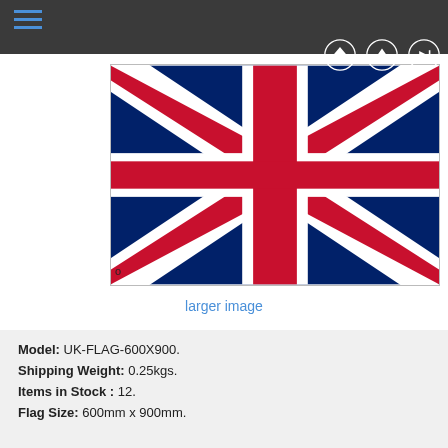[Figure (illustration): Union Jack (UK flag) displayed as a product image with a small 'o' marker at bottom left corner]
larger image
Model: UK-FLAG-600X900.
Shipping Weight: 0.25kgs.
Items in Stock : 12.
Flag Size: 600mm x 900mm.